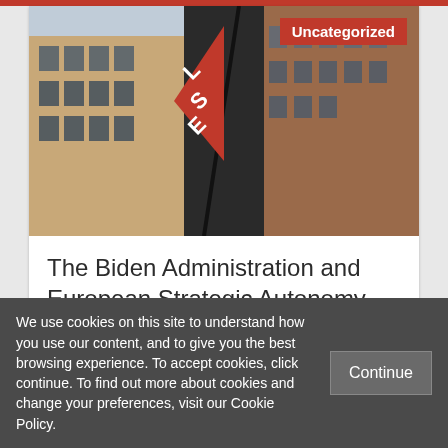[Figure (photo): Photo of LSE (London School of Economics) building exterior with a red triangular LSE sign/flag on a pole, brick building facade, windows visible, sky in background. Red 'Uncategorized' badge overlaid in top-right corner.]
The Biden Administration and European Strategic Autonomy
We use cookies on this site to understand how you use our content, and to give you the best browsing experience. To accept cookies, click continue. To find out more about cookies and change your preferences, visit our Cookie Policy.